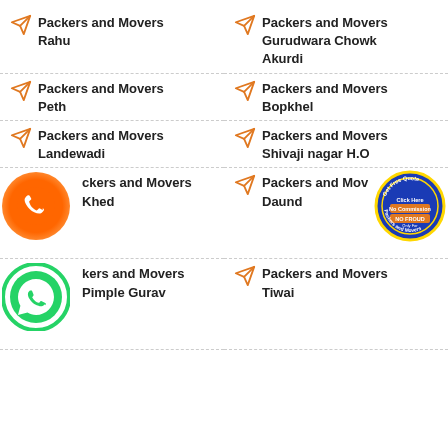Packers and Movers Rahu
Packers and Movers Gurudwara Chowk Akurdi
Packers and Movers Peth
Packers and Movers Bopkhel
Packers and Movers Landewadi
Packers and Movers Shivaji nagar H.O
Packers and Movers Khed
Packers and Movers Daund
Packers and Movers Pimple Gurav
Packers and Movers Tiwai
[Figure (illustration): Orange phone call button badge]
[Figure (illustration): WhatsApp green icon badge]
[Figure (illustration): Get Free Quote No Commission No Fraud stamp badge]